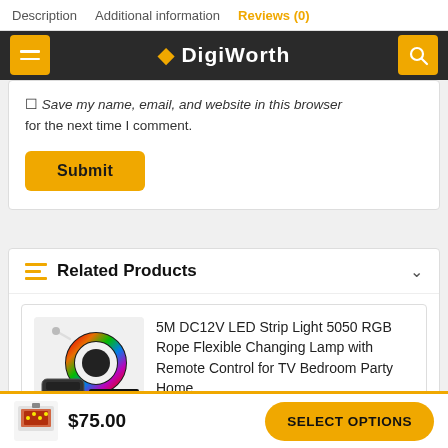Description  Additional information  Reviews (0)
[Figure (screenshot): Dark navigation bar with hamburger menu button (yellow), DigiWorth site logo in white, and yellow search icon button]
Save my name, email, and website in this browser for the next time I comment.
Submit
Related Products
5M DC12V LED Strip Light 5050 RGB Rope Flexible Changing Lamp with Remote Control for TV Bedroom Party Home
$18.00
$75.00  SELECT OPTIONS